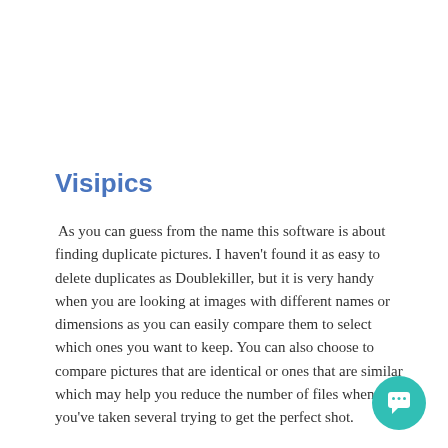Visipics
As you can guess from the name this software is about finding duplicate pictures. I haven't found it as easy to delete duplicates as Doublekiller, but it is very handy when you are looking at images with different names or dimensions as you can easily compare them to select which ones you want to keep. You can also choose to compare pictures that are identical or ones that are similar which may help you reduce the number of files when you've taken several trying to get the perfect shot.
[Figure (illustration): Teal circular chat button with a speech bubble icon in the bottom right corner]